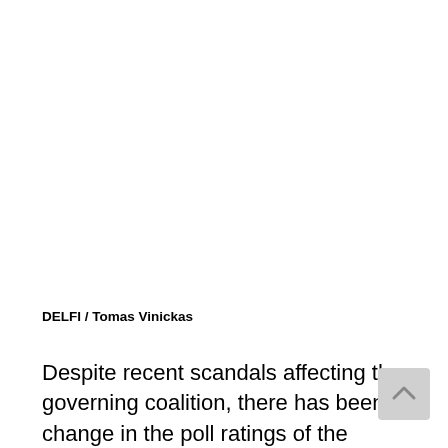DELFI / Tomas Vinickas
Despite recent scandals affecting the governing coalition, there has been little change in the poll ratings of the government parties among voters.